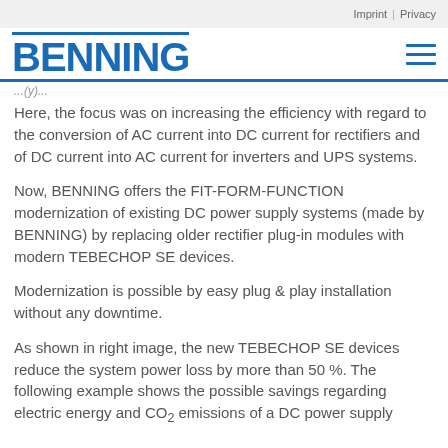Imprint | Privacy
[Figure (logo): BENNING company logo in blue with horizontal rule above, and hamburger menu icon on the right]
...(y)...
Here, the focus was on increasing the efficiency with regard to the conversion of AC current into DC current for rectifiers and of DC current into AC current for inverters and UPS systems.
Now, BENNING offers the FIT-FORM-FUNCTION modernization of existing DC power supply systems (made by BENNING) by replacing older rectifier plug-in modules with modern TEBECHOP SE devices.
Modernization is possible by easy plug & play installation without any downtime.
As shown in right image, the new TEBECHOP SE devices reduce the system power loss by more than 50 %. The following example shows the possible savings regarding electric energy and CO2 emissions of a DC power supply